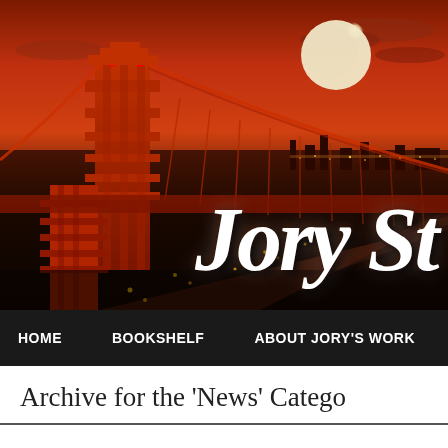[Figure (photo): Hero banner showing the Golden Gate Bridge in San Francisco at night with an orange/red sky, city lights, and a full moon. The bridge is dramatically lit in orange-red tones. Large white italic serif text 'Jory St' overlaid on the image.]
HOME   BOOKSHELF   ABOUT JORY'S WORK
Archive for the 'News' Catego